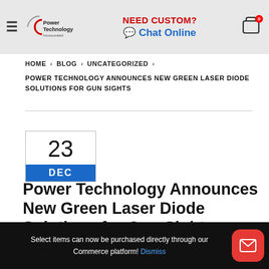Power Technology | NEED CUSTOM? Chat Online
HOME > BLOG > UNCATEGORIZED > POWER TECHNOLOGY ANNOUNCES NEW GREEN LASER DIODE SOLUTIONS FOR GUN SIGHTS
Power Technology Announces New Green Laser Diode Solutions for Gun Sights
23 DEC
Select items can now be purchased directly through our Commerce platform! Dismiss